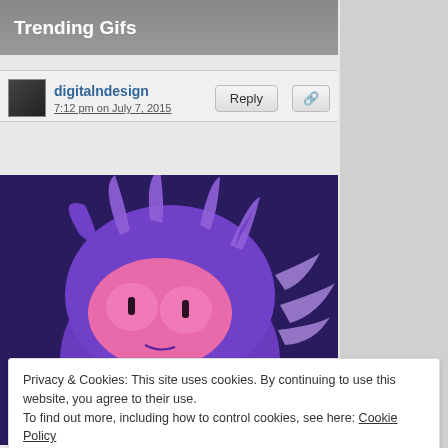Trending Gifs
digitalndesign
7:12 pm on July 7, 2015
[Figure (illustration): Animated GIF showing a purple cartoon cat-like creature with pink eyes and face, spiky fur/hair, on a dark purple background.]
Privacy & Cookies: This site uses cookies. By continuing to use this website, you agree to their use.
To find out more, including how to control cookies, see here: Cookie Policy
Close and accept
creature; puerto rico; mexican; spikes; straw,